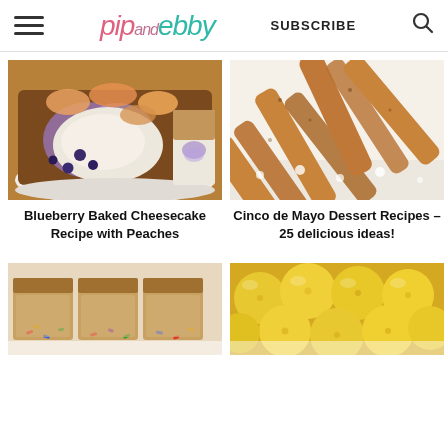pip and ebby — SUBSCRIBE
[Figure (photo): Photo of blueberry baked cheesecake with peaches on a white plate]
Blueberry Baked Cheesecake Recipe with Peaches
[Figure (photo): Photo of cinnamon sugar breadsticks on a white surface]
Cinco de Mayo Dessert Recipes – 25 delicious ideas!
[Figure (photo): Photo of funfetti/confetti baked bars with colorful sprinkles]
[Figure (photo): Photo of yellow lemons piled together]